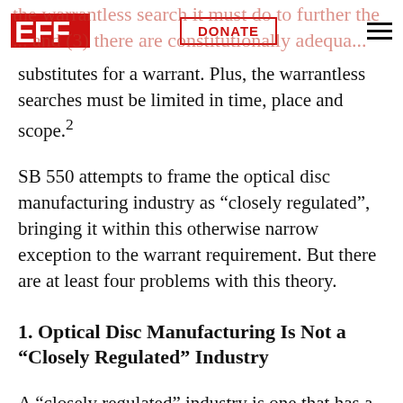EFF | DONATE
the warrantless search... to further the... and (3) there are constitutionally adequate substitutes for a warrant. Plus, the warrantless searches must be limited in time, place and scope.²
SB 550 attempts to frame the optical disc manufacturing industry as “closely regulated”, bringing it within this otherwise narrow exception to the warrant requirement. But there are at least four problems with this theory.
1. Optical Disc Manufacturing Is Not a “Closely Regulated” Industry
A “closely regulated” industry is one that has a history of government oversight and regulation.³ Usually, this means industries that have some